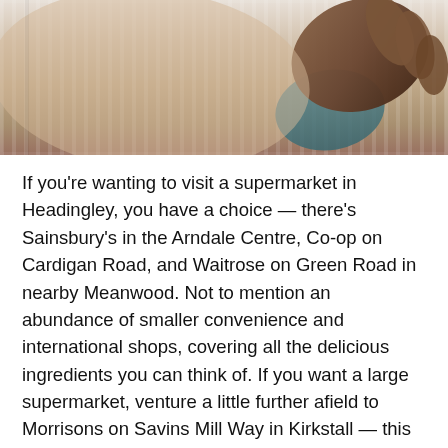[Figure (photo): Close-up photo of a person holding or embracing something, showing hands and fabric/clothing with stripe texture]
If you’re wanting to visit a supermarket in Headingley, you have a choice — there’s Sainsbury’s in the Arndale Centre, Co-op on Cardigan Road, and Waitrose on Green Road in nearby Meanwood. Not to mention an abundance of smaller convenience and international shops, covering all the delicious ingredients you can think of. If you want a large supermarket, venture a little further afield to Morrisons on Savins Mill Way in Kirkstall — this is their flagship store and as such is very large and well stocked. The pizza counter is not to be missed!
If freshly baked bread is your thing, you won’t be